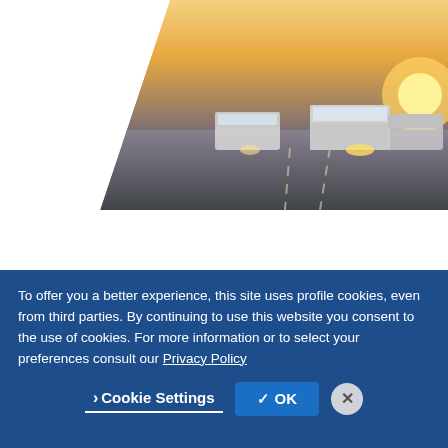[Figure (photo): Partial view of trucks driving on a highway at sunset, seen from the top portion of the page, with a diagonal clip/crop.]
[Figure (photo): Front-facing view of a white semi-truck cab, shown in a card with rounded corners. A 'Premium' badge appears top-left and a heart (favorite) button top-right.]
Premium
To offer you a better experience, this site uses profile cookies, even from third parties. By continuing to use this website you consent to the use of cookies. For more information or to select your preferences consult our Privacy Policy
Cookie Settings
✓ OK